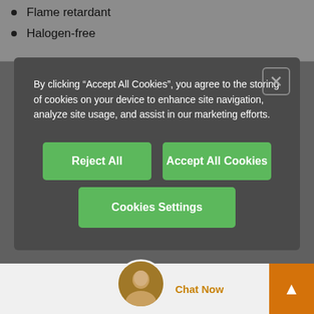Flame retardant
Halogen-free
By clicking “Accept All Cookies”, you agree to the storing of cookies on your device to enhance site navigation, analyze site usage, and assist in our marketing efforts.
Reject All
Accept All Cookies
Cookies Settings
Upon request
2 variant(s), of whic
2 Ready for shi...
Chat Now